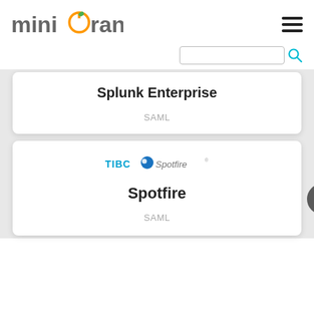[Figure (logo): miniOrange logo with orange circular icon and gray text]
[Figure (screenshot): Hamburger menu icon (three horizontal lines)]
[Figure (screenshot): Search input box with teal search icon]
Splunk Enterprise
SAML
[Figure (logo): TIBCO Spotfire logo with blue circle and text]
Spotfire
SAML